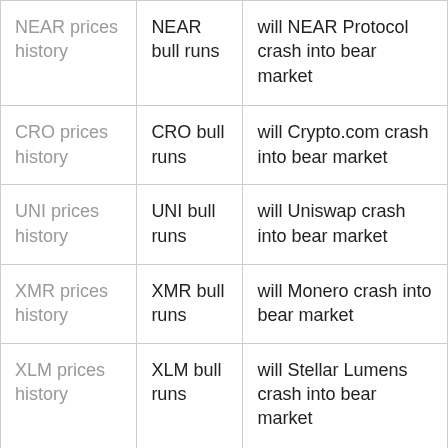| NEAR prices history | NEAR bull runs | will NEAR Protocol crash into bear market |
| CRO prices history | CRO bull runs | will Crypto.com crash into bear market |
| UNI prices history | UNI bull runs | will Uniswap crash into bear market |
| XMR prices history | XMR bull runs | will Monero crash into bear market |
| XLM prices history | XLM bull runs | will Stellar Lumens crash into bear market |